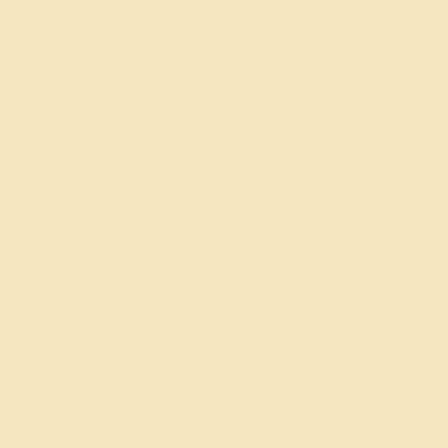MJ: I think it was Lord Chesterfield t... shirts with a neat little hole in the middle... remember the wording, but that was the... mjp, thinking this will make a very coo... take it on--and that does NOT include he...
JO: LOL! That nightshirt would make a g... going to take THAT on!
SK: There are plenty of instances of cov... illustrations -- look up ... often has bathing scen... wearing a turban and ... tub, either something d... probably created a sa... sheets before the water was added for c...
[Figure (illustration): A vintage illustration showing people in what appears to be a bathing/domestic scene with furniture and figures inside a room]
JO: I suspect the cloths in this case are t... splinters from the wood. These baths loo... certainly knew how to seal a barrel. Goo... would also provide some privacy and a s... England. Which reminds me, though slig... from Mrs. Thrale (friend of Dr. Johnson)... 18th century. She and her daughters we... NOVEMBER! B... US... H...